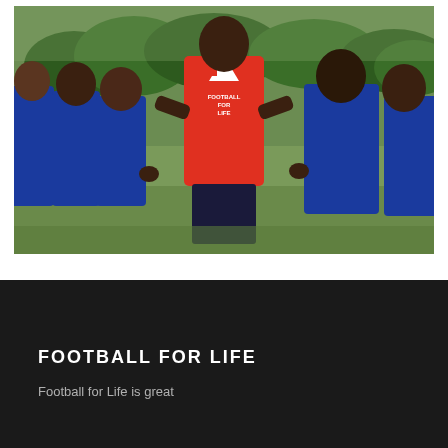[Figure (photo): A person wearing a red 'Football for Life' jersey and dark shorts stands on a grass field, holding hands with children wearing blue bibs/vests on both sides. The scene appears to be at a youth football or community event in Africa.]
FOOTBALL FOR LIFE
Football for Life is great